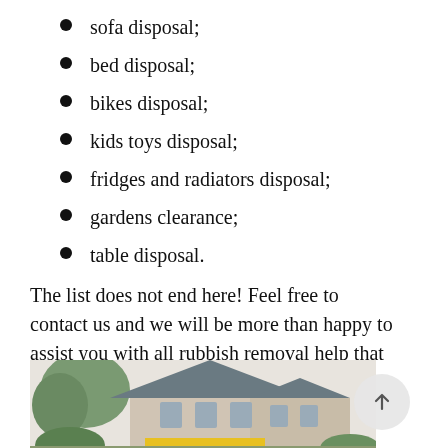sofa disposal;
bed disposal;
bikes disposal;
kids toys disposal;
fridges and radiators disposal;
gardens clearance;
table disposal.
The list does not end here! Feel free to contact us and we will be more than happy to assist you with all rubbish removal help that you looking for in Dublin 14.
[Figure (photo): Exterior photo of a house with a grey pointed roof, trees on the left, and foliage in the foreground, with a yellow element visible at the bottom.]